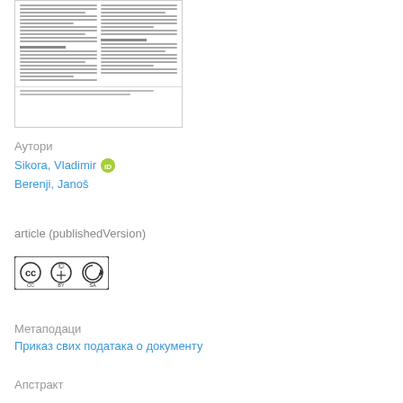[Figure (screenshot): Thumbnail preview of a two-column academic article document with Serbian text, showing text columns, section headers, and a footnote area.]
Аутори
Sikora, Vladimir [ORCID]
Berenji, Janoš
article (publishedVersion)
[Figure (logo): Creative Commons Attribution-ShareAlike (CC BY-SA) license badge showing cc, person, and share icons in a black-bordered rectangle.]
Метаподаци
Приказ свих података о документу
Апстракт